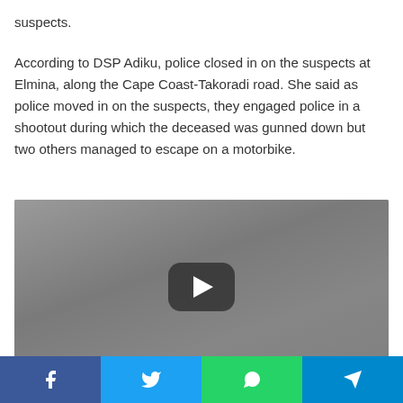suspects.
According to DSP Adiku, police closed in on the suspects at Elmina, along the Cape Coast-Takoradi road. She said as police moved in on the suspects, they engaged police in a shootout during which the deceased was gunned down but two others managed to escape on a motorbike.
[Figure (screenshot): Video player thumbnail with YouTube-style play button on grey background]
[Figure (infographic): Social media share buttons bar: Facebook (blue), Twitter (light blue), WhatsApp (green), Telegram (teal)]